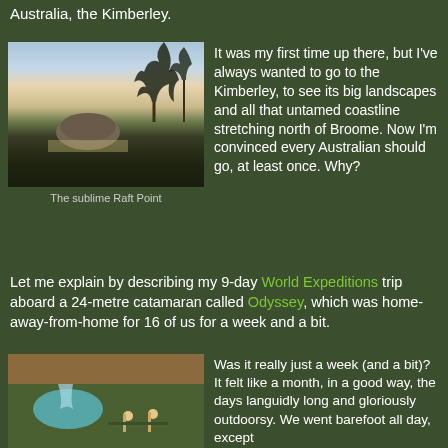Australia, the Kimberley.
[Figure (photo): Sunset view of Raft Point showing a rock formation rising above a misty sea, with dark tree silhouettes in the foreground]
The sublime Raft Point
It was my first time up there, but I've always wanted to go to the Kimberley, to see its big landscapes and all that untamed coastline stretching north of Broome. Now I'm convinced every Australian should go, at least once. Why?
Let me explain by describing my 9-day World Expeditions trip aboard a 24-metre catamaran called Odyssey, which was home-away-from-home for 16 of us for a week and a bit.
[Figure (photo): Hikers standing by a waterfall and turquoise pool in a red rock gorge in the Kimberley]
Was it really just a week (and a bit)? It felt like a month, in a good way, the days languidly long and gloriously outdoorsy. We went barefoot all day, except